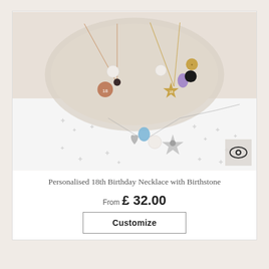[Figure (photo): Product photo showing three personalised 18th birthday necklaces with birthstone charms. Two necklaces are displayed on a white oval plate — one with rose gold chain and disc charm, pearl, and dark stone; one with gold chain, star charm '18', amethyst stone, and black bead. A third necklace below on white surface with silver star charm, pearl, heart charm, and blue stone.]
Personalised 18th Birthday Necklace with Birthstone
From £ 32.00
Customize